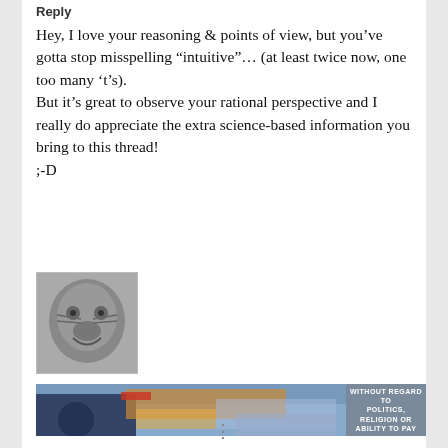Reply
Hey, I love your reasoning & points of view, but you’ve gotta stop misspelling “intuitive”… (at least twice now, one too many ‘t’s).
But it’s great to observe your rational perspective and I really do appreciate the extra science-based information you bring to this thread!
;-D
[Figure (photo): Black and white photo of a lion or large cat with an aggressive expression]
[Figure (photo): Advertisement banner showing an airplane being loaded with cargo. Text overlay reads: WITHOUT REGARD TO POLITICS, RELIGION OR ABILITY TO PAY]